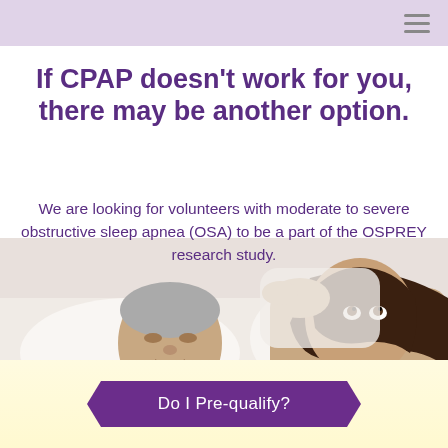If CPAP doesn't work for you, there may be another option.
We are looking for volunteers with moderate to severe obstructive sleep apnea (OSA) to be a part of the OSPREY research study.
[Figure (photo): A man sleeping with mouth open snoring while a woman beside him in bed covers her ears with a pillow, looking frustrated.]
Do I Pre-qualify?